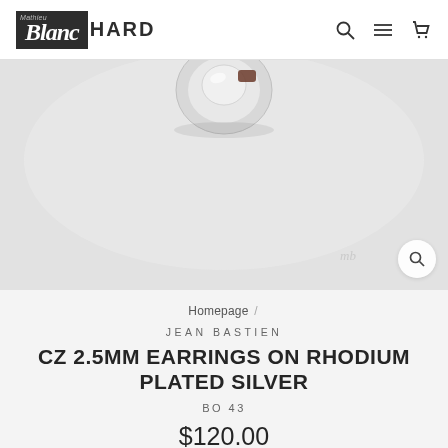Mathieu Blanchard HARD
[Figure (photo): Product photo of CZ 2.5mm earrings on rhodium plated silver, shown on a light gray/white background. The earring is partially visible at the top center of the image — a small silver circular stud.]
Homepage /
JEAN BASTIEN
CZ 2.5MM EARRINGS ON RHODIUM PLATED SILVER
BO 43
$120.00